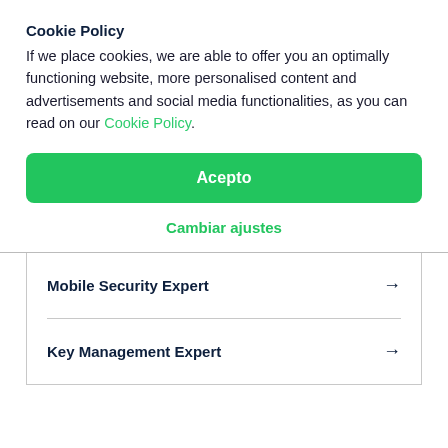Cookie Policy
If we place cookies, we are able to offer you an optimally functioning website, more personalised content and advertisements and social media functionalities, as you can read on our Cookie Policy.
Acepto
Cambiar ajustes
Mobile Security Expert →
Key Management Expert →